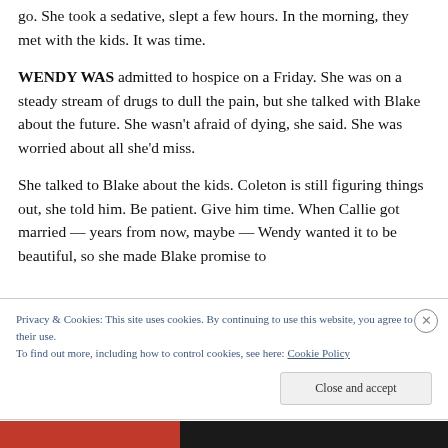go. She took a sedative, slept a few hours. In the morning, they met with the kids. It was time.
WENDY WAS admitted to hospice on a Friday. She was on a steady stream of drugs to dull the pain, but she talked with Blake about the future. She wasn't afraid of dying, she said. She was worried about all she'd miss.
She talked to Blake about the kids. Coleton is still figuring things out, she told him. Be patient. Give him time. When Callie got married — years from now, maybe — Wendy wanted it to be beautiful, so she made Blake promise to
Privacy & Cookies: This site uses cookies. By continuing to use this website, you agree to their use.
To find out more, including how to control cookies, see here: Cookie Policy